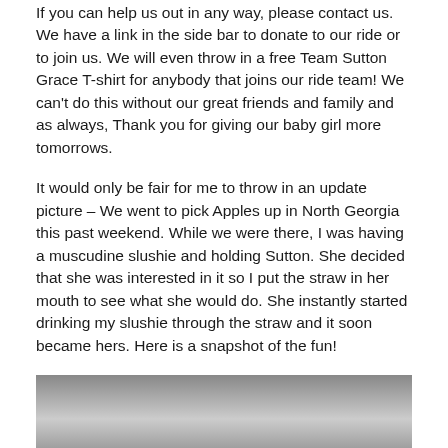If you can help us out in any way, please contact us. We have a link in the side bar to donate to our ride or to join us. We will even throw in a free Team Sutton Grace T-shirt for anybody that joins our ride team! We can't do this without our great friends and family and as always, Thank you for giving our baby girl more tomorrows.
It would only be fair for me to throw in an update picture – We went to pick Apples up in North Georgia this past weekend. While we were there, I was having a muscudine slushie and holding Sutton. She decided that she was interested in it so I put the straw in her mouth to see what she would do. She instantly started drinking my slushie through the straw and it soon became hers. Here is a snapshot of the fun!
[Figure (photo): Black and white photograph, partially visible, appears to show a close-up scene related to the story described above.]